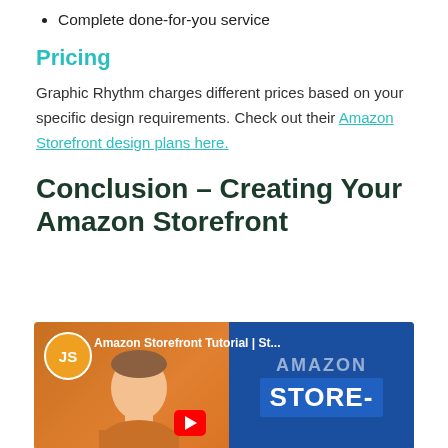Complete done-for-you service
Pricing
Graphic Rhythm charges different prices based on your specific design requirements. Check out their Amazon Storefront design plans here.
Conclusion – Creating Your Amazon Storefront
[Figure (screenshot): YouTube thumbnail showing 'Amazon Storefront Tutorial | St...' with a JS logo circle, a person on an orange background, and a blue right panel showing 'AMAZON STORE-']